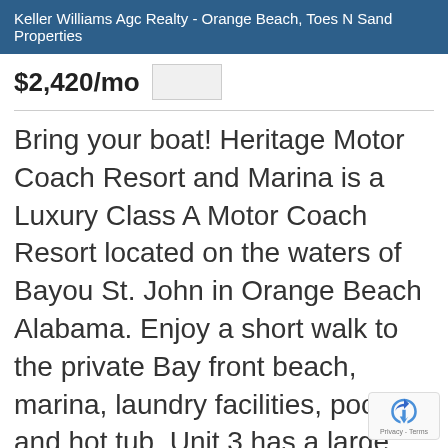Keller Williams Agc Realty - Orange Beach, Toes N Sand Properties
$2,420/mo
Bring your boat! Heritage Motor Coach Resort and Marina is a Luxury Class A Motor Coach Resort located on the waters of Bayou St. John in Orange Beach Alabama. Enjoy a short walk to the private Bay front beach, marina, laundry facilities, pool, and hot tub. Unit 3 has a large coach pad, well maintained landscaping, and an expansive covered patio area and comes with deeded boat slip 103. This coastal decorated coach house has an open floor plan with a sleeper sofa and a murphy bed to sleep all guests The kitchen has stainless steel app including microwave, dishwasher, refrigerator